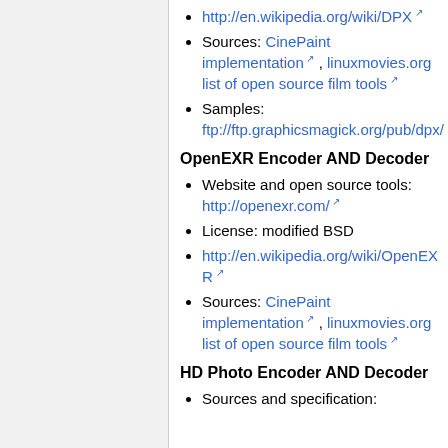http://en.wikipedia.org/wiki/DPX
Sources: CinePaint implementation , linuxmovies.org list of open source film tools
Samples: ftp://ftp.graphicsmagick.org/pub/dpx/
OpenEXR Encoder AND Decoder
Website and open source tools: http://openexr.com/
License: modified BSD
http://en.wikipedia.org/wiki/OpenEXR
Sources: CinePaint implementation , linuxmovies.org list of open source film tools
HD Photo Encoder AND Decoder
Sources and specification: